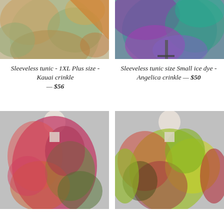[Figure (photo): Tie-dye sleeveless tunic in green, orange and brown tones, displayed on a flat surface, top portion cropped]
[Figure (photo): Tie-dye sleeveless tunic in teal, purple and magenta ice dye pattern on a hanger, top portion cropped]
Sleeveless tunic - 1XL Plus size - Kauai crinkle — $56
Sleeveless tunic size Small ice dye - Angelica crinkle — $50
[Figure (photo): Tie-dye sleeveless dress in red, pink, green and orange ice dye pattern on a mannequin]
[Figure (photo): Tie-dye long-sleeve top in green, yellow and red ice dye pattern on a mannequin]